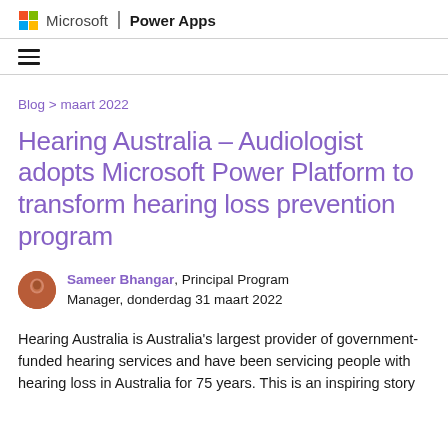Microsoft | Power Apps
≡ (navigation menu)
Blog > maart 2022
Hearing Australia – Audiologist adopts Microsoft Power Platform to transform hearing loss prevention program
Sameer Bhangar, Principal Program Manager, donderdag 31 maart 2022
Hearing Australia is Australia's largest provider of government-funded hearing services and have been servicing people with hearing loss in Australia for 75 years. This is an inspiring story about how the...